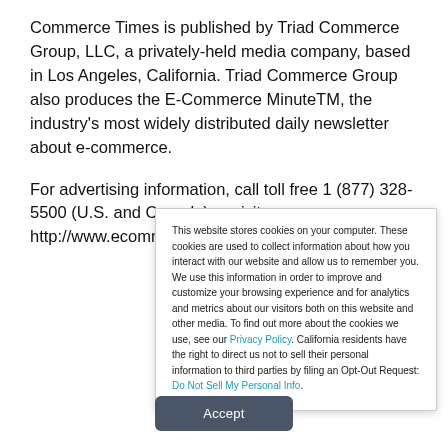Commerce Times is published by Triad Commerce Group, LLC, a privately-held media company, based in Los Angeles, California. Triad Commerce Group also produces the E-Commerce MinuteTM, the industry's most widely distributed daily newsletter about e-commerce.
For advertising information, call toll free 1 (877) 328-5500 (U.S. and Canada) or visit http://www.ecommercetimes.com
This website stores cookies on your computer. These cookies are used to collect information about how you interact with our website and allow us to remember you. We use this information in order to improve and customize your browsing experience and for analytics and metrics about our visitors both on this website and other media. To find out more about the cookies we use, see our Privacy Policy. California residents have the right to direct us not to sell their personal information to third parties by filing an Opt-Out Request: Do Not Sell My Personal Info.
Accept